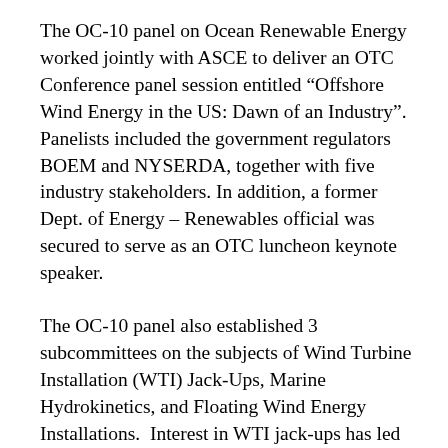The OC-10 panel on Ocean Renewable Energy worked jointly with ASCE to deliver an OTC Conference panel session entitled “Offshore Wind Energy in the US: Dawn of an Industry”.  Panelists included the government regulators BOEM and NYSERDA, together with five industry stakeholders.  In addition, a former Dept. of Energy – Renewables official was secured to serve as an OTC luncheon keynote speaker.
The OC-10 panel also established 3 subcommittees on the subjects of Wind Turbine Installation (WTI) Jack-Ups, Marine Hydrokinetics, and Floating Wind Energy Installations.  Interest in WTI jack-ups has led to two large meetings and a plan for a joint-industry program to write a SNAME Bulletin on industry standards.